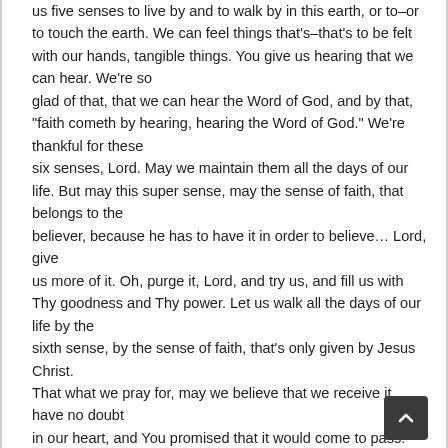us five senses to live by and to walk by in this earth, or to–or to touch the earth. We can feel things that's–that's to be felt with our hands, tangible things. You give us hearing that we can hear. We're so glad of that, that we can hear the Word of God, and by that, "faith cometh by hearing, hearing the Word of God." We're thankful for these six senses, Lord. May we maintain them all the days of our life. But may this super sense, may the sense of faith, that belongs to the believer, because he has to have it in order to believe… Lord, give us more of it. Oh, purge it, Lord, and try us, and fill us with Thy goodness and Thy power. Let us walk all the days of our life by the sixth sense, by the sense of faith, that's only given by Jesus Christ. That what we pray for, may we believe that we receive it, have no doubt in our heart, and You promised that it would come to pass.